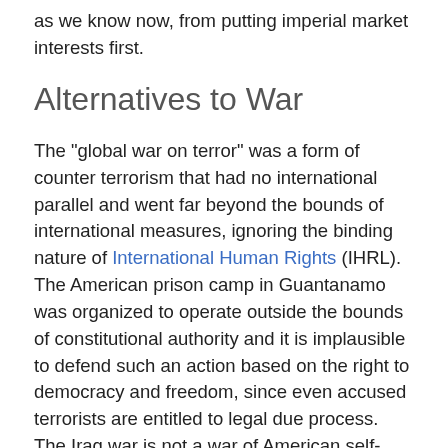as we know now, from putting imperial market interests first.
Alternatives to War
The "global war on terror" was a form of counter terrorism that had no international parallel and went far beyond the bounds of international measures, ignoring the binding nature of International Human Rights (IHRL). The American prison camp in Guantanamo was organized to operate outside the bounds of constitutional authority and it is implausible to defend such an action based on the right to democracy and freedom, since even accused terrorists are entitled to legal due process. The Iraq war is not a war of American self-defense in the sense of article 51 of the UN Charter. Moreover, the argument that the